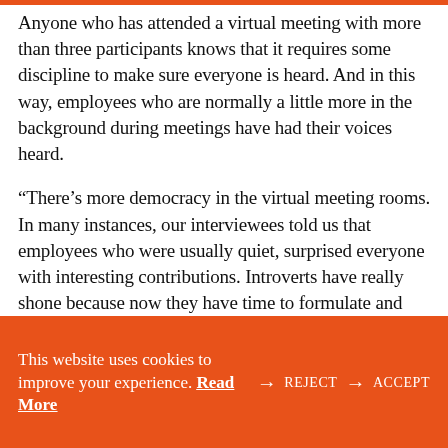Anyone who has attended a virtual meeting with more than three participants knows that it requires some discipline to make sure everyone is heard. And in this way, employees who are normally a little more in the background during meetings have had their voices heard.
“There’s more democracy in the virtual meeting rooms. In many instances, our interviewees told us that employees who were usually quiet, surprised everyone with interesting contributions. Introverts have really shone because now they have time to formulate and deliver their messages without being interrupted by more ‘aggressive’
This website uses cookies to improve your experience. Read More